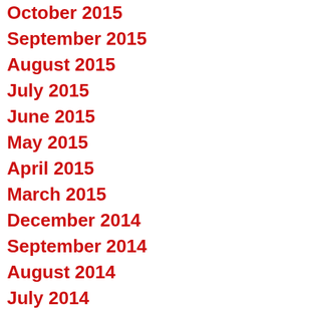October 2015
September 2015
August 2015
July 2015
June 2015
May 2015
April 2015
March 2015
December 2014
September 2014
August 2014
July 2014
June 2014
May 2014
April 2014